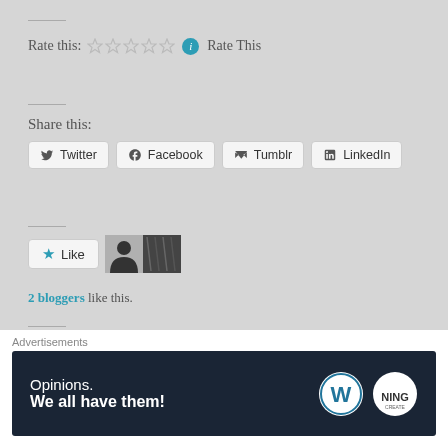Rate this: ☆☆☆☆☆ ℹ Rate This
Share this:
Twitter  Facebook  Tumblr  LinkedIn
[Figure (other): Like button with two blogger avatars]
2 bloggers like this.
By Premkumar
Posted in Education
Tagged SUBHASH CHANDRA BOSE.
Advertisements
[Figure (other): Advertisement banner: Opinions. We all have them! with WordPress and Ning logos]